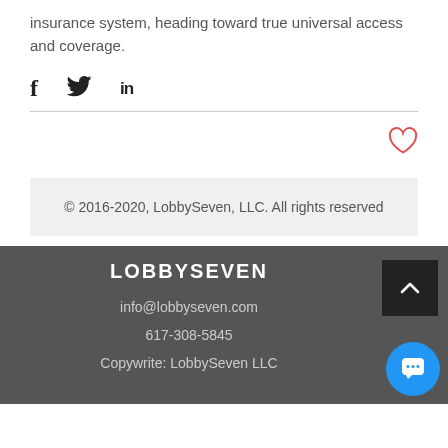insurance system, heading toward true universal access and coverage.
[Figure (other): Social share icons: Facebook (f), Twitter (bird), LinkedIn (in)]
[Figure (other): Heart/like icon (red outline heart) for liking the post]
© 2016-2020, LobbySeven, LLC. All rights reserved
LOBBYSEVEN
info@lobbyseven.com
617-308-5845
Copywrite: LobbySeven LLC